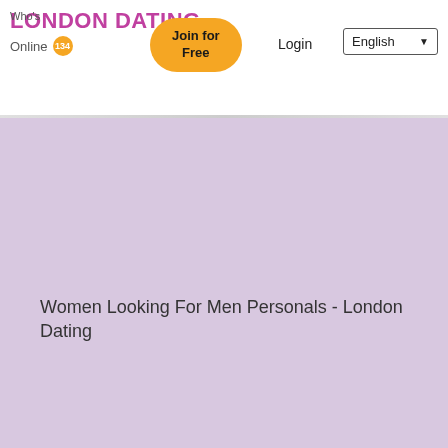LONDON DATING — Who's Online 134 — Join for Free — Login — English
Women Looking For Men Personals - London Dating